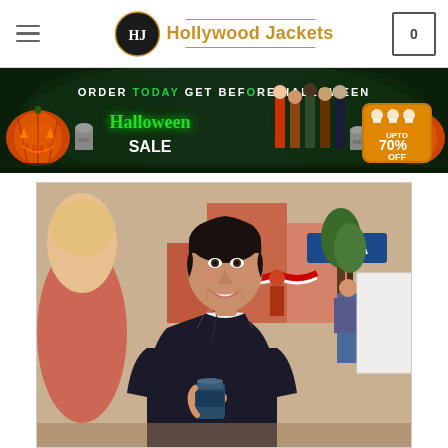[Figure (screenshot): Hollywood Jackets e-commerce website header with navigation bar showing hamburger menu, HJ circular logo, 'Hollywood Jackets' brand name in gold, and shopping cart icon with 0 items]
[Figure (photo): Halloween sale banner with green spooky background, pumpkins, text 'ORDER TODAY GET BEFORE HALLOWEEN', Halloween Sale branding, TV show characters in jackets, and 'UPTO 70% OFF' badge]
[Figure (photo): Woman with short dark hair wearing a dark navy/black coat and white shirt underneath, holding a coffee cup, smiling on what appears to be a film or TV set with people in background and 'IOWA' sign visible]